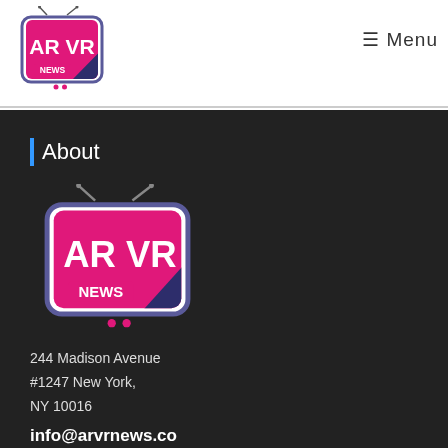[Figure (logo): AR VR NEWS TV logo in header — pink/magenta TV set shape with AR VR text in white and NEWS in white on pink, antenna on top, dots at bottom]
☰ Menu
About
[Figure (logo): AR VR NEWS TV logo in footer — same logo as header but larger, dark background version]
244 Madison Avenue
#1247 New York,
NY 10016
info@arvrnews.co